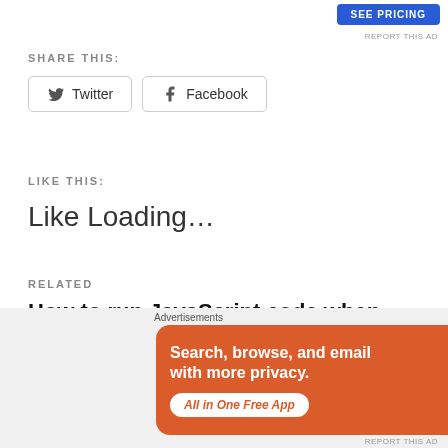[Figure (other): SEE PRICING button (blue) in top right area, advertisement]
REPORT THIS AD
SHARE THIS:
Twitter  Facebook
LIKE THIS:
Like Loading…
RELATED
How to run JavaScript code when loading a model driven app?
7 May 2021
Advertisements
[Figure (other): DuckDuckGo advertisement banner: orange background, text 'Search, browse, and email with more privacy. All in One Free App', phone image with DuckDuckGo logo]